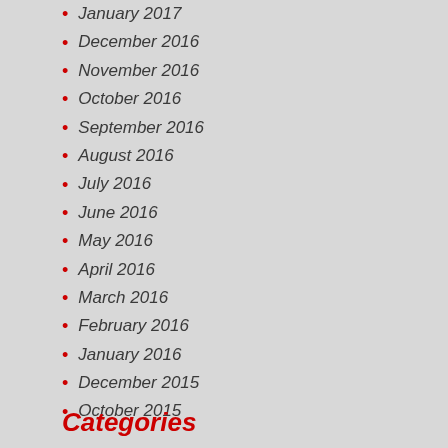January 2017
December 2016
November 2016
October 2016
September 2016
August 2016
July 2016
June 2016
May 2016
April 2016
March 2016
February 2016
January 2016
December 2015
October 2015
Categories